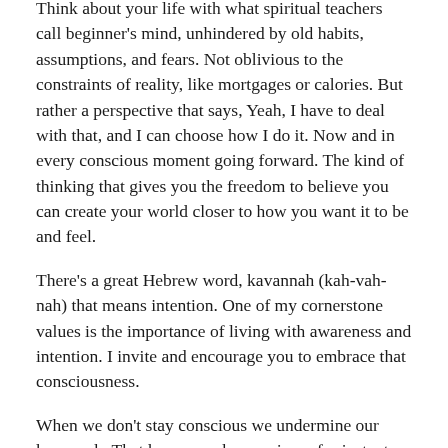Think about your life with what spiritual teachers call beginner's mind, unhindered by old habits, assumptions, and fears. Not oblivious to the constraints of reality, like mortgages or calories. But rather a perspective that says, Yeah, I have to deal with that, and I can choose how I do it. Now and in every conscious moment going forward. The kind of thinking that gives you the freedom to believe you can create your world closer to how you want it to be and feel.
There's a great Hebrew word, kavannah (kah-vah-nah) that means intention. One of my cornerstone values is the importance of living with awareness and intention. I invite and encourage you to embrace that consciousness.
When we don't stay conscious we undermine our kavannah. That happens when we jump for instant gratification or don't listen to our inner/higher voice. The voice that instructs and offers: Here's a great life. Just don't do that one act of self-sabotage.